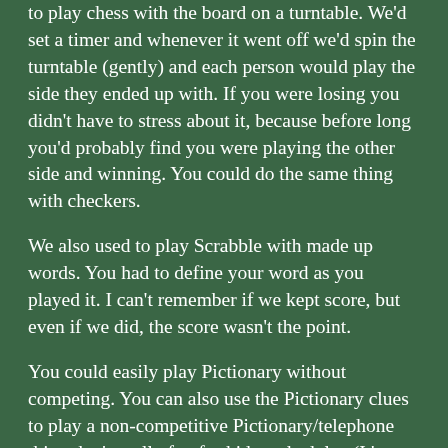to play chess with the board on a turntable. We'd set a timer and whenever it went off we'd spin the turntable (gently) and each person would play the side they ended up with. If you were losing you didn't have to stress about it, because before long you'd probably find you were playing the other side and winning. You could do the same thing with checkers.
We also used to play Scrabble with made up words. You had to define your word as you played it. I can't remember if we kept score, but even if we did, the score wasn't the point.
You could easily play Pictionary without competing. You can also use the Pictionary clues to play a non-competitive Pictionary/telephone thing that's really fun for kids and adults. (It's better with more than 3 people, though.) Each person takes a clue and draws it, then passes the picture on to the person next to them, while receiving a picture from the person on the other side. Each person guesses what the